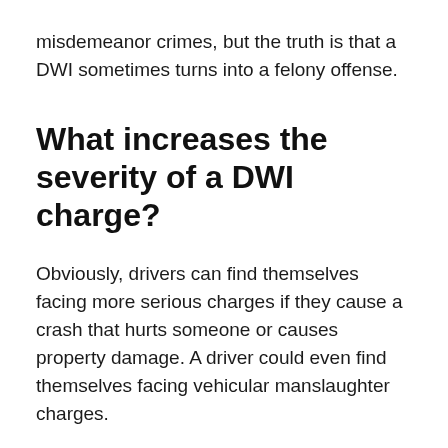misdemeanor crimes, but the truth is that a DWI sometimes turns into a felony offense.
What increases the severity of a DWI charge?
Obviously, drivers can find themselves facing more serious charges if they cause a crash that hurts someone or causes property damage. A driver could even find themselves facing vehicular manslaughter charges.
However, even technical infractions that occur during traffic stops can result in felony charges. The main reason that a standard DWI